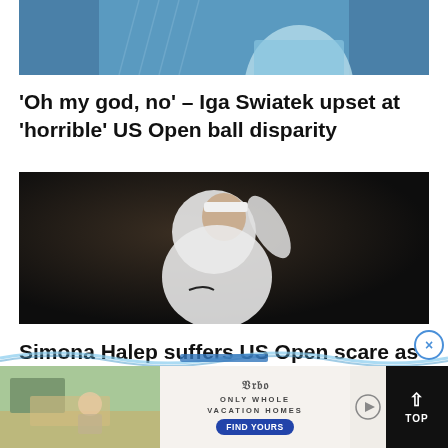[Figure (photo): Tennis player (top cropped, showing shoulders and tennis racket, wearing light blue/teal outfit)]
‘Oh my god, no’ – Iga Swiatek upset at ‘horrible’ US Open ball disparity
[Figure (photo): Simona Halep celebrating or reacting during a tennis match, wearing white Nike outfit and white visor, on dark background]
Simona Halep suffers US Open scare as thigh injury forces Cincinnati withdrawal
[Figure (photo): Advertisement banner showing vacation home with text logo and FIND YOURS button for vacation homes service]